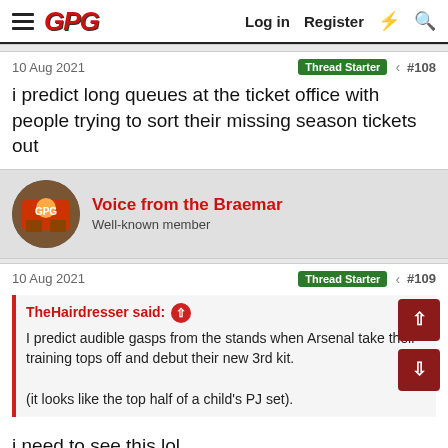GPG  Log in  Register
10 Aug 2021  Thread Starter  #108
i predict long queues at the ticket office with people trying to sort their missing season tickets out
Voice from the Braemar
Well-known member
10 Aug 2021  Thread Starter  #109
TheHairdresser said: I predict audible gasps from the stands when Arsenal take their training tops off and debut their new 3rd kit.

(it looks like the top half of a child's PJ set).
i need to see this lol